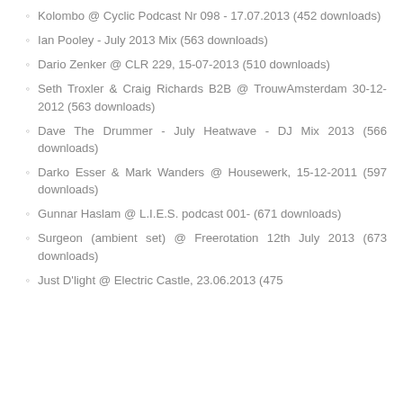Kolombo @ Cyclic Podcast Nr 098 - 17.07.2013 (452 downloads)
Ian Pooley - July 2013 Mix (563 downloads)
Dario Zenker @ CLR 229, 15-07-2013 (510 downloads)
Seth Troxler & Craig Richards B2B @ TrouwAmsterdam 30-12-2012 (563 downloads)
Dave The Drummer - July Heatwave - DJ Mix 2013 (566 downloads)
Darko Esser & Mark Wanders @ Housewerk, 15-12-2011 (597 downloads)
Gunnar Haslam @ L.I.E.S. podcast 001- (671 downloads)
Surgeon (ambient set) @ Freerotation 12th July 2013 (673 downloads)
Just D'light @ Electric Castle, 23.06.2013 (475